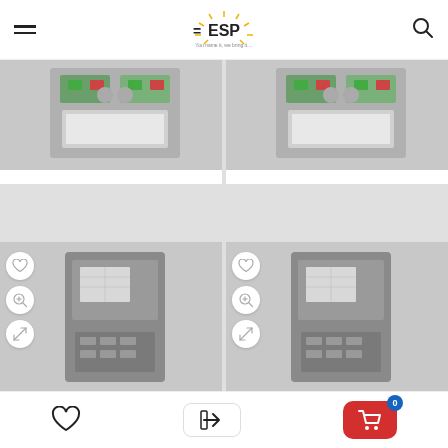ESP Every Spare Parts — You name it, we bring it...
[Figure (photo): Siemens 7SJ8501-0DA10-0AA0 protection relay device photo (top left product card)]
Siemens 7SJ8501-0DA10-0AA0 Overcurrent and...
[Figure (photo): Siemens 7SJ8501-0DA20-0AA0 protection relay device photo (top right product card)]
Siemens 7SJ8501-0DA20-0AA0 Overcurrent and...
[Figure (photo): Siemens protection relay device photo (bottom left product card) with wishlist, zoom, compare icons]
[Figure (photo): Siemens protection relay device photo (bottom right product card) with wishlist, zoom, compare icons]
Wishlist | Login | Cart (0)